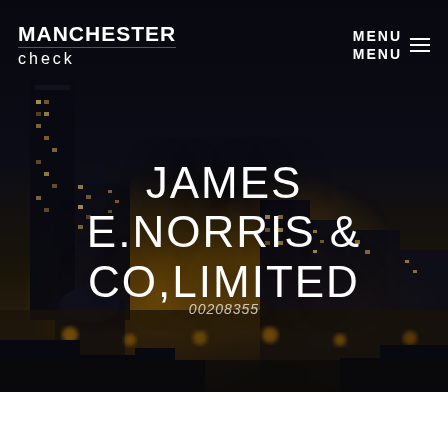[Figure (screenshot): Manchester cityscape at night — dark sky with city lights glowing orange and yellow across buildings and streets, serving as a hero banner background]
MANCHESTER CHECK  MENU
JAMES E.NORRIS & CO,LIMITED
00208355